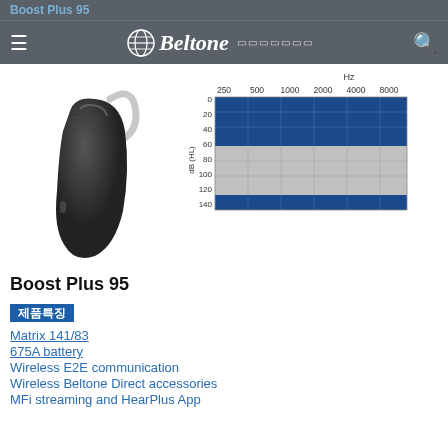Boost Plus 95
[Figure (photo): Beltone Boost Plus 95 BTE hearing aid device, dark grey/black color, shown from the side]
[Figure (continuous-plot): Audiogram chart showing hearing loss range in dB (HL) on y-axis (0 to 140) versus frequency in Hz on x-axis (250, 500, 1000, 2000, 4000, 8000). Blue filled region from 0-60 dB and 120-140 dB, grey region from 60-120 dB indicating fitting range.]
Boost Plus 95
제품특징
Matrix 141/83
675A battery
Wireless E2E communication
Wireless Beltone Direct accessories
MFi streaming and HearPlus App